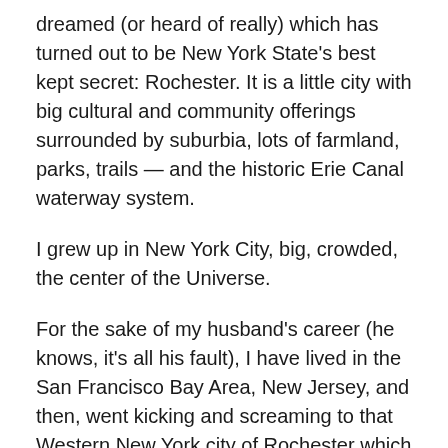dreamed (or heard of really) which has turned out to be New York State's best kept secret: Rochester. It is a little city with big cultural and community offerings surrounded by suburbia, lots of farmland, parks, trails — and the historic Erie Canal waterway system.
I grew up in New York City, big, crowded, the center of the Universe.
For the sake of my husband's career (he knows, it's all his fault), I have lived in the San Francisco Bay Area, New Jersey, and then, went kicking and screaming to that Western New York city of Rochester which turned out all right in the end.
For nearly four years, I was a contributing columnist for the Rochester Democrat & Chronicle. I loved writing my